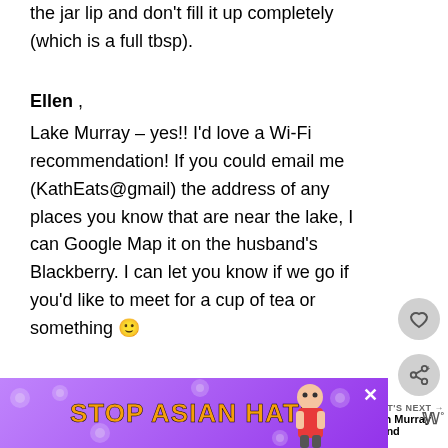the jar lip and don't fill it up completely (which is a full tbsp).
Ellen , Lake Murray – yes!! I'd love a Wi-Fi recommendation! If you could email me (KathEats@gmail) the address of any places you know that are near the lake, I can Google Map it on the husband's Blackberry. I can let you know if we go if you'd like to meet for a cup of tea or something 🙂
[Figure (infographic): Stop Asian Hate advertisement banner with purple background, orange bold text, white flowers, and animated character]